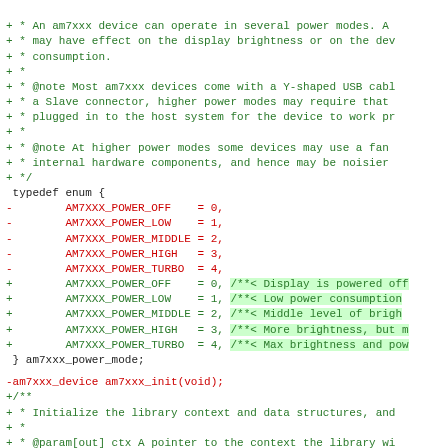Code diff showing am7xxx power mode enum and function declaration with added documentation comments